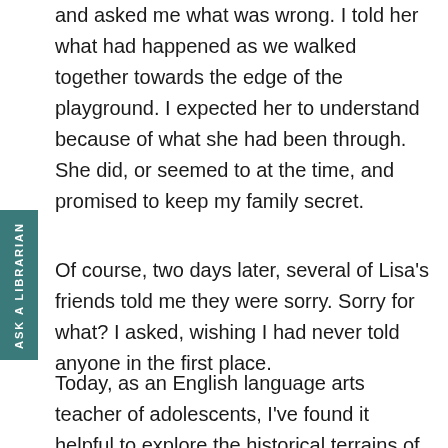and asked me what was wrong. I told her what had happened as we walked together towards the edge of the playground. I expected her to understand because of what she had been through. She did, or seemed to at the time, and promised to keep my family secret.
Of course, two days later, several of Lisa's friends told me they were sorry. Sorry for what? I asked, wishing I had never told anyone in the first place.
Today, as an English language arts teacher of adolescents, I've found it helpful to explore the historical terrains of both adolescence and the contemporary fictions adults have created for adolescents.